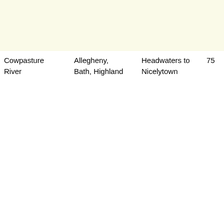|  |  |  |  | gradient... feet pe... |
| Cowpasture River | Allegheny, Bath, Highland | Headwaters to Nicelytown | 75 | Hydrolo... Cow ar... Pasture... system... of the l... unpollu... unspoil... undistu... river sy... the reg... Historic... (Segme... include... numero... of histo... signific... Some c... |